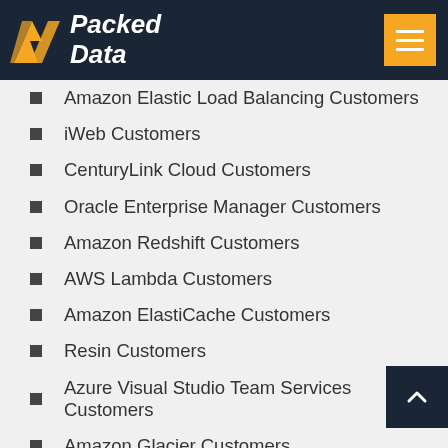Packed Data
Amazon Elastic Load Balancing Customers
iWeb Customers
CenturyLink Cloud Customers
Oracle Enterprise Manager Customers
Amazon Redshift Customers
AWS Lambda Customers
Amazon ElastiCache Customers
Resin Customers
Azure Visual Studio Team Services Customers
Amazon Glacier Customers
Red Hat CloudForms Customers
NaviSite Customers